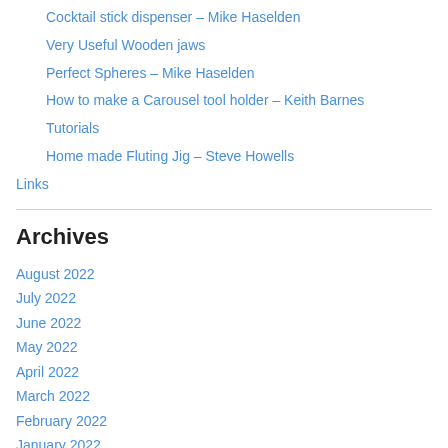Cocktail stick dispenser – Mike Haselden
Very Useful Wooden jaws
Perfect Spheres – Mike Haselden
How to make a Carousel tool holder – Keith Barnes
Tutorials
Home made Fluting Jig – Steve Howells
Links
Archives
August 2022
July 2022
June 2022
May 2022
April 2022
March 2022
February 2022
January 2022
December 2021